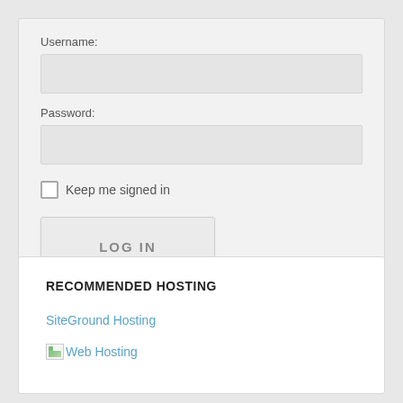Username:
Password:
Keep me signed in
LOG IN
RECOMMENDED HOSTING
SiteGround Hosting
Web Hosting